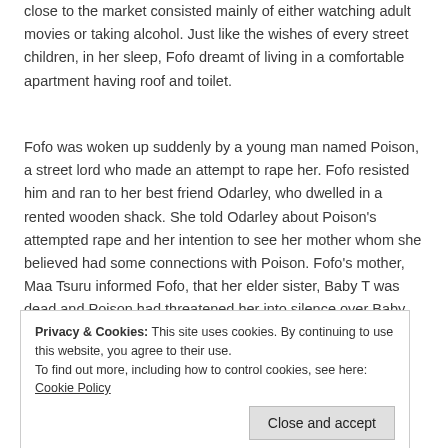close to the market consisted mainly of either watching adult movies or taking alcohol. Just like the wishes of every street children, in her sleep, Fofo dreamt of living in a comfortable apartment having roof and toilet.
Fofo was woken up suddenly by a young man named Poison, a street lord who made an attempt to rape her. Fofo resisted him and ran to her best friend Odarley, who dwelled in a rented wooden shack. She told Odarley about Poison's attempted rape and her intention to see her mother whom she believed had some connections with Poison. Fofo's mother, Maa Tsuru informed Fofo, that her elder sister, Baby T was dead and Poison had threatened her into silence over Baby T's death. She therefore urged Fofo to leave for her safety.
Privacy & Cookies: This site uses cookies. By continuing to use this website, you agree to their use. To find out more, including how to control cookies, see here: Cookie Policy
and Ottu, she lived in a decent neighbourhood in Accra, worked